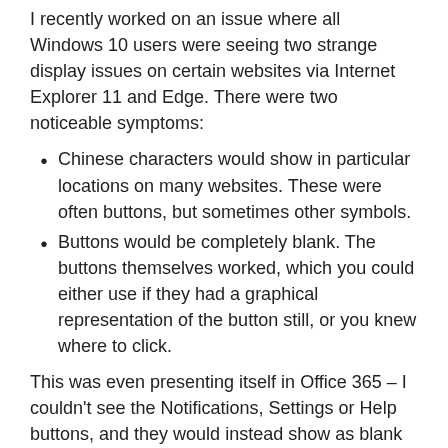I recently worked on an issue where all Windows 10 users were seeing two strange display issues on certain websites via Internet Explorer 11 and Edge. There were two noticeable symptoms:
Chinese characters would show in particular locations on many websites. These were often buttons, but sometimes other symbols.
Buttons would be completely blank. The buttons themselves worked, which you could either use if they had a graphical representation of the button still, or you knew where to click.
This was even presenting itself in Office 365 – I couldn't see the Notifications, Settings or Help buttons, and they would instead show as blank boxes.